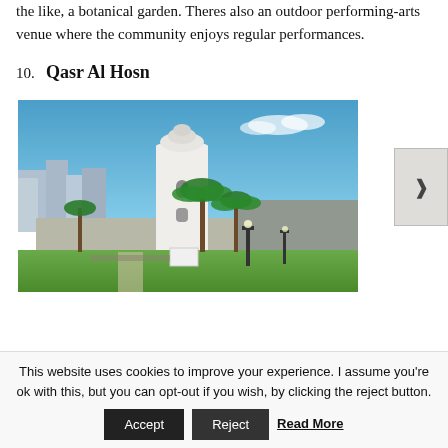the like, a botanical garden. Theres also an outdoor performing-arts venue where the community enjoys regular performances.
10. Qasr Al Hosn
[Figure (photo): Photograph of Qasr Al Hosn fort in Abu Dhabi showing a white cylindrical tower with dome top, palm trees, surrounding walls, green lawn, cityscape in background, blue sky.]
This website uses cookies to improve your experience. I assume you're ok with this, but you can opt-out if you wish, by clicking the reject button.